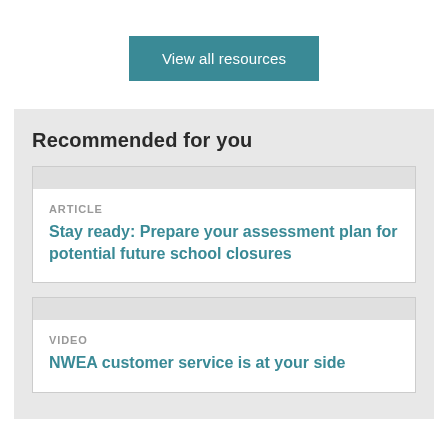View all resources
Recommended for you
ARTICLE
Stay ready: Prepare your assessment plan for potential future school closures
VIDEO
NWEA customer service is at your side